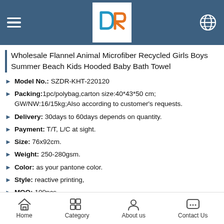DR logo header with hamburger menu and globe icon
Wholesale Flannel Animal Microfiber Recycled Girls Boys Summer Beach Kids Hooded Baby Bath Towel
Model No.: SZDR-KHT-220120
Packing:1pc/polybag,carton size:40*43*50 cm; GW/NW:16/15kg;Also according to customer's requests.
Delivery: 30days to 60days depends on quantity.
Payment: T/T, L/C at sight.
Size: 76x92cm.
Weight: 250-280gsm.
Color: as your pantone color.
Style: reactive printing,
MOQ: 100pcs.
Home | Category | About us | Contact Us